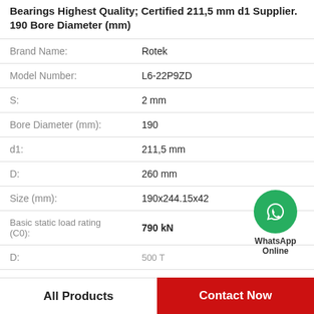Bearings Highest Quality; Certified 211,5 mm d1 Supplier. 190 Bore Diameter (mm)
| Property | Value |
| --- | --- |
| Brand Name: | Rotek |
| Model Number: | L6-22P9ZD |
| S: | 2 mm |
| Bore Diameter (mm): | 190 |
| d1: | 211,5 mm |
| D: | 260 mm |
| Size (mm): | 190x244.15x42 |
| Basic static load rating (C0): | 790 kN |
| D: | 500 T |
[Figure (logo): WhatsApp Online green circle icon with phone handset, with text 'WhatsApp Online' below]
All Products    Contact Now